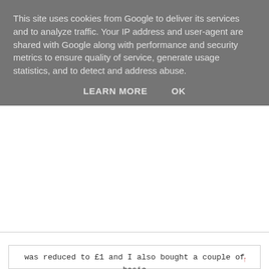This site uses cookies from Google to deliver its services and to analyze traffic. Your IP address and user-agent are shared with Google along with performance and security metrics to ensure quality of service, generate usage statistics, and to detect and address abuse.
LEARN MORE    OK
was reduced to £1 and I also bought a couple of basic t-shirt bras in white and nude for only....£2.50!
Couldn't load plugin.